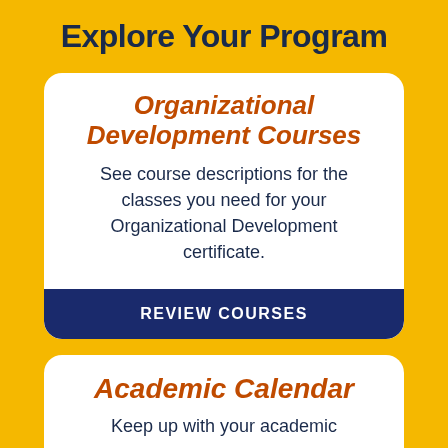Explore Your Program
Organizational Development Courses
See course descriptions for the classes you need for your Organizational Development certificate.
REVIEW COURSES
Academic Calendar
Keep up with your academic